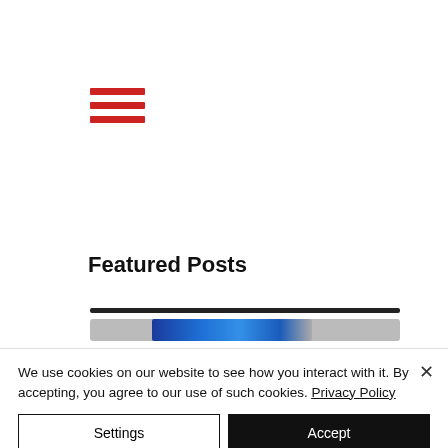[Figure (other): Hamburger menu icon with three horizontal red bars]
Featured Posts
[Figure (other): A horizontal progress/slider element with a dark top track bar and a blue gradient filled slider below it on a gray background]
We use cookies on our website to see how you interact with it. By accepting, you agree to our use of such cookies. Privacy Policy
Settings
Accept